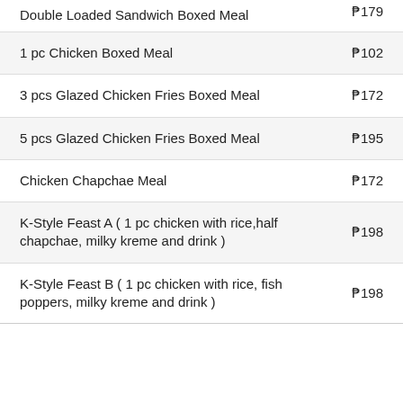| Item | Price |
| --- | --- |
| Double Loaded Sandwich Boxed Meal | ₱179 |
| 1 pc Chicken Boxed Meal | ₱102 |
| 3 pcs Glazed Chicken Fries Boxed Meal | ₱172 |
| 5 pcs Glazed Chicken Fries Boxed Meal | ₱195 |
| Chicken Chapchae Meal | ₱172 |
| K-Style Feast A ( 1 pc chicken with rice,half chapchae, milky kreme and drink ) | ₱198 |
| K-Style Feast B ( 1 pc chicken with rice, fish poppers, milky kreme and drink ) | ₱198 |